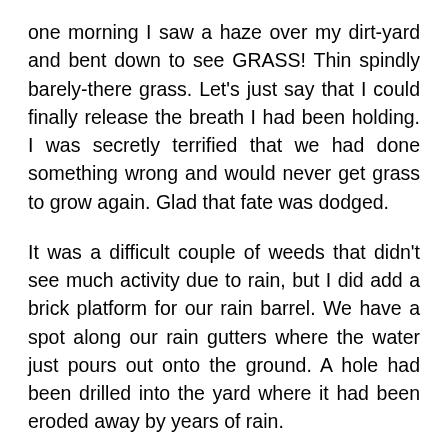one morning I saw a haze over my dirt-yard and bent down to see GRASS! Thin spindly barely-there grass. Let's just say that I could finally release the breath I had been holding. I was secretly terrified that we had done something wrong and would never get grass to grow again. Glad that fate was dodged.
It was a difficult couple of weeds that didn't see much activity due to rain, but I did add a brick platform for our rain barrel. We have a spot along our rain gutters where the water just pours out onto the ground. A hole had been drilled into the yard where it had been eroded away by years of rain.
Fixing the gutters would be the best solution, but not one we can tackle at this point, for reasons. However, we have a drain in the middle of the yard that allows rain to go